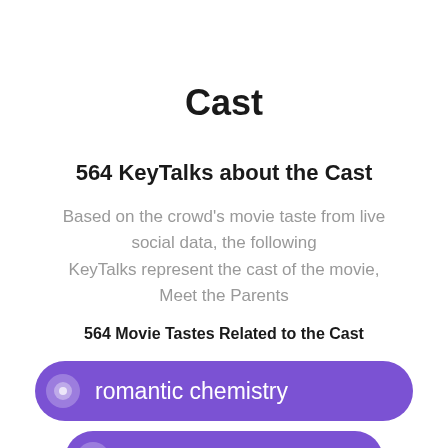Cast
564 KeyTalks about the Cast
Based on the crowd's movie taste from live social data, the following KeyTalks represent the cast of the movie, Meet the Parents
564 Movie Tastes Related to the Cast
romantic chemistry
comic flairs
comedic chops